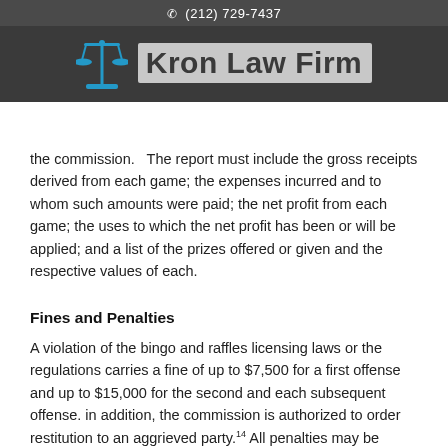(212) 729-7437 | Kron Law Firm
the commission. The report must include the gross receipts derived from each game; the expenses incurred and to whom such amounts were paid; the net profit from each game; the uses to which the net profit has been or will be applied; and a list of the prizes offered or given and the respective values of each.
Fines and Penalties
A violation of the bingo and raffles licensing laws or the regulations carries a fine of up to $7,500 for a first offense and up to $15,000 for the second and each subsequent offense. in addition, the commission is authorized to order restitution to an aggrieved party.14 All penalties may be collected in a summary manner pursuant to the Penalty Enforcement Act.15
Conclusion
New Jersey nonprofit organizations can successfully raise funds through bingo or raffles. However, if the organization does not